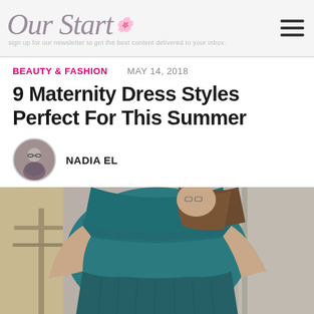Our Start
BEAUTY & FASHION   MAY 14, 2018
9 Maternity Dress Styles Perfect For This Summer
NADIA EL
[Figure (photo): A pregnant woman wearing a teal off-shoulder long-sleeve maternity dress, leaning against a stone column near a staircase railing.]